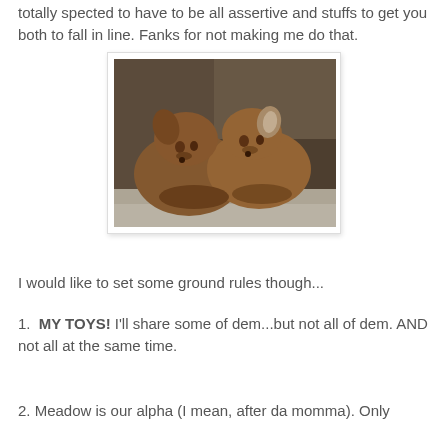totally spected to have to be all assertive and stuffs to get you both to fall in line. Fanks for not making me do that.
[Figure (photo): Two brown puppies cuddled together on a white blanket, leaning against each other in a couch corner.]
I would like to set some ground rules though...
MY TOYS! I'll share some of dem...but not all of dem. AND not all at the same time.
Meadow is our alpha (I mean, after da momma). Only